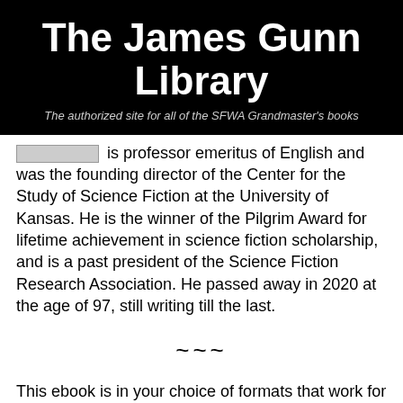The James Gunn Library
The authorized site for all of the SFWA Grandmaster's books
is professor emeritus of English and was the founding director of the Center for the Study of Science Fiction at the University of Kansas. He is the winner of the Pilgrim Award for lifetime achievement in science fiction scholarship, and is a past president of the Science Fiction Research Association. He passed away in 2020 at the age of 97, still writing till the last.
~~~
This ebook is in your choice of formats that work for almost every ebook reader and has no copy protection ("DRM"). Read it on any reader you want, any time.
Select ebook format (all for one price):